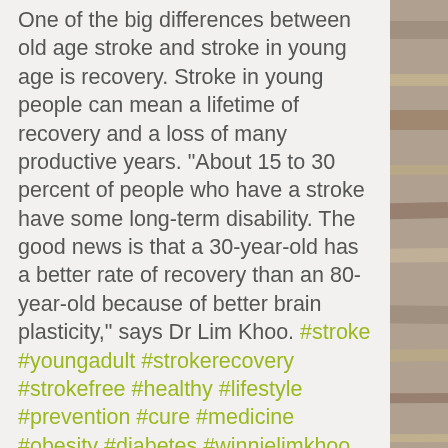One of the big differences between old age stroke and stroke in young age is recovery. Stroke in young people can mean a lifetime of recovery and a loss of many productive years. "About 15 to 30 percent of people who have a stroke have some long-term disability. The good news is that a 30-year-old has a better rate of recovery than an 80-year-old because of better brain plasticity," says Dr Lim Khoo. #stroke #youngadult #strokerecovery #strokefree #healthy #lifestyle #prevention #cure #medicine #obesity #diabetes #winnielimkhoo #neurologist #manila #philippines #health